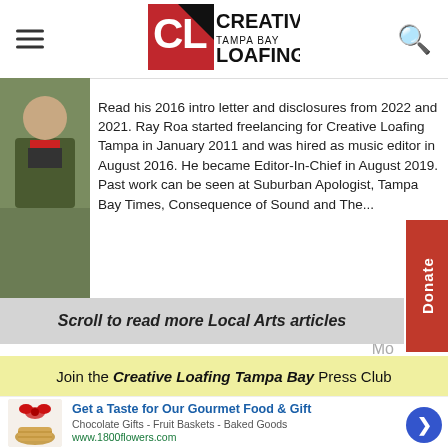[Figure (logo): Creative Loafing Tampa Bay logo — red and black square logo with CL letters, white text reading CREATIVE LOAFING, TAMPA BAY below]
Read his 2016 intro letter and disclosures from 2022 and 2021. Ray Roa started freelancing for Creative Loafing Tampa in January 2011 and was hired as music editor in August 2016. He became Editor-In-Chief in August 2019. Past work can be seen at Suburban Apologist, Tampa Bay Times, Consequence of Sound and The...
Mo...
Scroll to read more Local Arts articles
Join the Creative Loafing Tampa Bay Press Club
[Figure (photo): Advertisement: gift basket with red bow. Get a Taste for Our Gourmet Food & Gift. Chocolate Gifts - Fruit Baskets - Baked Goods. www.1800flowers.com]